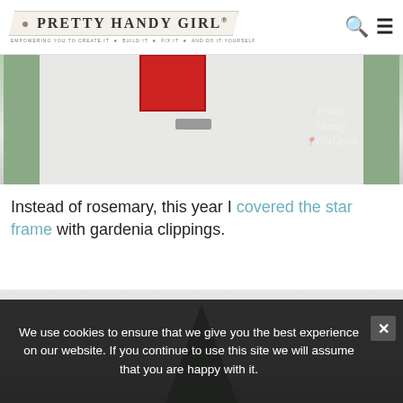PRETTY HANDY GIRL® — EMPOWERING YOU TO CREATE IT • BUILD IT • FIX IT • AND DO IT YOURSELF
[Figure (photo): Photo of a white refrigerator/appliance with green cabinet panels on either side, a red striped towel hanging from handle, watermark reading 'Pretty Handy Girl.com']
Instead of rosemary, this year I covered the star frame with gardenia clippings.
[Figure (photo): Partial photo showing a dark green plant against a light gray/white background]
We use cookies to ensure that we give you the best experience on our website. If you continue to use this site we will assume that you are happy with it.